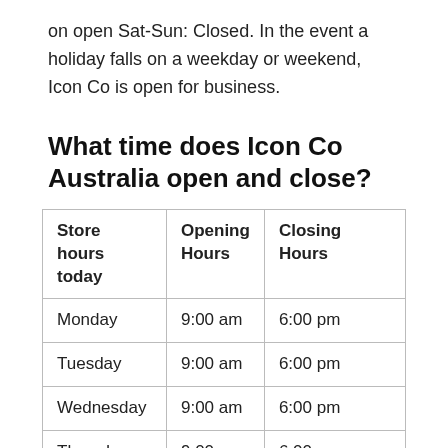on open Sat-Sun: Closed. In the event a holiday falls on a weekday or weekend, Icon Co is open for business.
What time does Icon Co Australia open and close?
| Store hours today | Opening Hours | Closing Hours |
| --- | --- | --- |
| Monday | 9:00 am | 6:00 pm |
| Tuesday | 9:00 am | 6:00 pm |
| Wednesday | 9:00 am | 6:00 pm |
| Thursday | 9:00 am | 6:00 pm |
| Friday | 9:00 am | 6:00 pm |